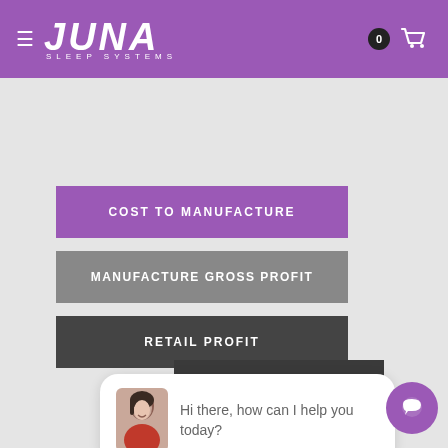JUNA SLEEP SYSTEMS
COST TO MANUFACTURE
MANUFACTURE GROSS PROFIT
RETAIL PROFIT
Hi there, how can I help you today?
COMMISIONED SALES & HIGH PRESSURE TACTICS